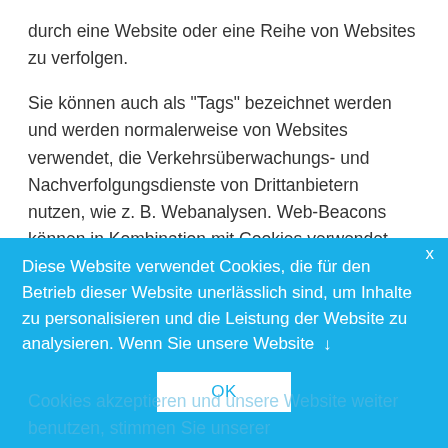durch eine Website oder eine Reihe von Websites zu verfolgen.
Sie können auch als "Tags" bezeichnet werden und werden normalerweise von Websites verwendet, die Verkehrsüberwachungs- und Nachverfolgungsdienste von Drittanbietern nutzen, wie z. B. Webanalysen. Web-Beacons können in Kombination mit Cookies verwendet werden, um zu verstehen, wie die Benutzer einer Website durch die
[Figure (screenshot): Cookie consent banner overlay in blue background. Text reads: 'Diese Website verwendet Cookies, die für den Betrieb dieser Website unerlässlich sind, um Inhalte zu personalisieren und die Leistung der Website zu analysieren. Wenn Sie unsere Website ↓' with an OK button and an X close button.]